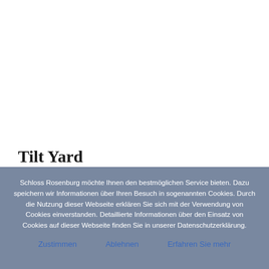Tilt Yard
Schloss Rosenburg möchte Ihnen den bestmöglichen Service bieten. Dazu speichern wir Informationen über Ihren Besuch in sogenannten Cookies. Durch die Nutzung dieser Webseite erklären Sie sich mit der Verwendung von Cookies einverstanden. Detaillierte Informationen über den Einsatz von Cookies auf dieser Webseite finden Sie in unserer Datenschutzerklärung.
Zustimmen
Ablehnen
Erfahren Sie mehr